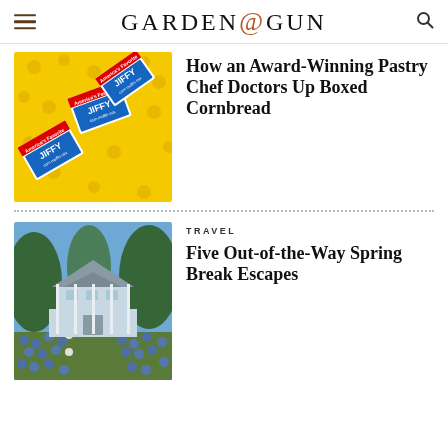GARDEN & GUN
[Figure (photo): Jiffy corn muffin mix boxes on yellow background]
How an Award-Winning Pastry Chef Doctors Up Boxed Cornbread
[Figure (photo): A Southern plantation-style house with bluebonnet wildflowers lining a dirt path, surrounded by trees]
TRAVEL
Five Out-of-the-Way Spring Break Escapes